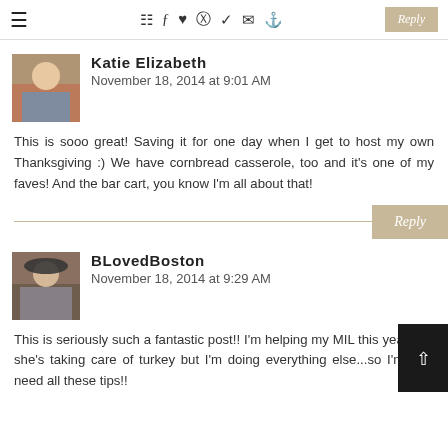☰ [icons: camera, facebook, heart, pinterest, twitter, mail, search] Reply
Katie Elizabeth
November 18, 2014 at 9:01 AM
This is sooo great! Saving it for one day when I get to host my own Thanksgiving :) We have cornbread casserole, too and it's one of my faves! And the bar cart, you know I'm all about that!
Reply
BLovedBoston
November 18, 2014 at 9:29 AM
This is seriously such a fantastic post!! I'm helping my MIL this year and she's taking care of turkey but I'm doing everything else...so I'm g to need all these tips!!